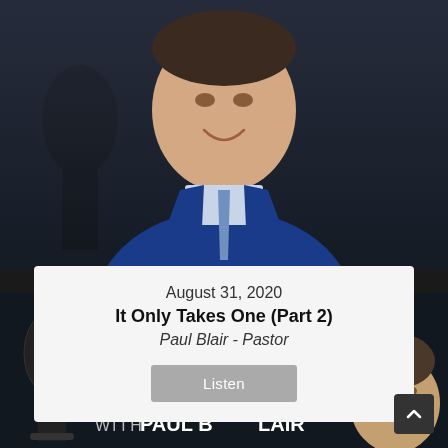[Figure (photo): Professional headshot of a man in a blue suit and blue patterned tie, smiling, with a dark background including a microphone silhouette on the left]
August 31, 2020
It Only Takes One (Part 2)
Paul Blair - Pastor
Listen
[Figure (logo): Podcast logo banner reading 'Exploring The Word with Paul Blair' in white text on dark background, with a microphone image on the left and Paul Blair's face on the right]